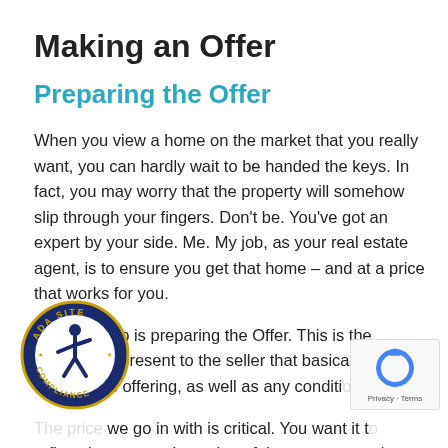Making an Offer
Preparing the Offer
When you view a home on the market that you really want, you can hardly wait to be handed the keys. In fact, you may worry that the property will somehow slip through your fingers. Don't be. You've got an expert by your side. Me. My job, as your real estate agent, is to ensure you get that home – and at a price that works for you.
The first step is preparing the Offer. This is the do___t I present to the seller that basically states ___ou're offering, as well as any conditi___
___we go in with is critical. You want it t___ reflect the true market value of the property so the